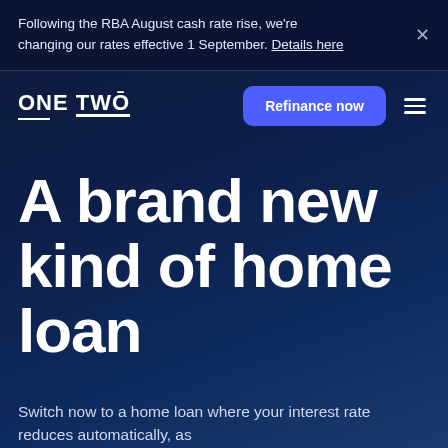Following the RBA August cash rate rise, we're changing our rates effective 1 September. Details here
[Figure (logo): ONE TWO logo in white with underline accent]
Refinance now
A brand new kind of home loan
Switch now to a home loan where your interest rate reduces automatically, as